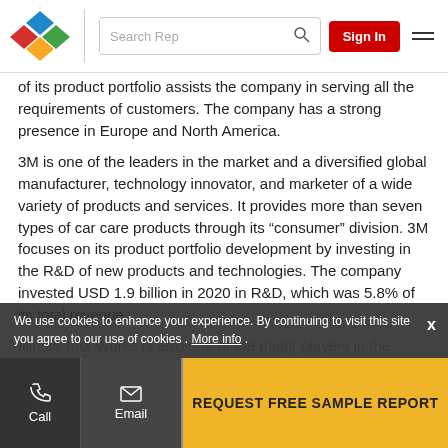Search Rep | Sign In
of its product portfolio assists the company in serving all the requirements of customers. The company has a strong presence in Europe and North America.
3M is one of the leaders in the market and a diversified global manufacturer, technology innovator, and marketer of a wide variety of products and services. It provides more than seven types of car care products through its “consumer” division. 3M focuses on its product portfolio development by investing in the R&D of new products and technologies. The company invested USD 1.9 billion in 2020 in R&D, which was 5.8% of its total revenue.
Illinois Tool Works is also one of the major players in the ... products and services
We use cookies to enhance your experience. By continuing to visit this site you agree to our use of cookies . More info .
Call | Email | REQUEST FREE SAMPLE REPORT